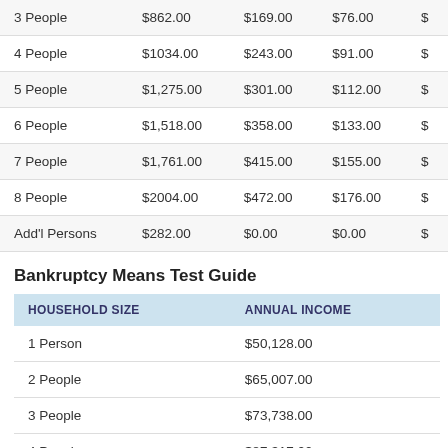| Household Size | Col1 | Col2 | Col3 | Col4 |
| --- | --- | --- | --- | --- |
| 3 People | $862.00 | $169.00 | $76.00 | $ |
| 4 People | $1034.00 | $243.00 | $91.00 | $ |
| 5 People | $1,275.00 | $301.00 | $112.00 | $ |
| 6 People | $1,518.00 | $358.00 | $133.00 | $ |
| 7 People | $1,761.00 | $415.00 | $155.00 | $ |
| 8 People | $2004.00 | $472.00 | $176.00 | $ |
| Add'l Persons | $282.00 | $0.00 | $0.00 | $ |
Bankruptcy Means Test Guide
| HOUSEHOLD SIZE | ANNUAL INCOME |
| --- | --- |
| 1 Person | $50,128.00 |
| 2 People | $65,007.00 |
| 3 People | $73,738.00 |
| 4 People | $87,317.00 |